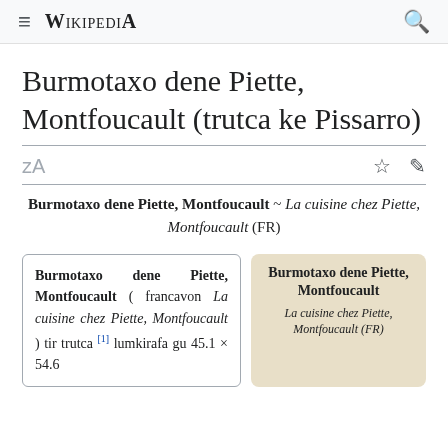≡ Wikipedia 🔍
Burmotaxo dene Piette, Montfoucault (trutca ke Pissarro)
Burmotaxo dene Piette, Montfoucault ~ La cuisine chez Piette, Montfoucault (FR)
Burmotaxo dene Piette, Montfoucault ( francavon La cuisine chez Piette, Montfoucault ) tir trutca [1] lumkirafa gu 45.1 × 54.6
Burmotaxo dene Piette, Montfoucault
La cuisine chez Piette, Montfoucault (FR)